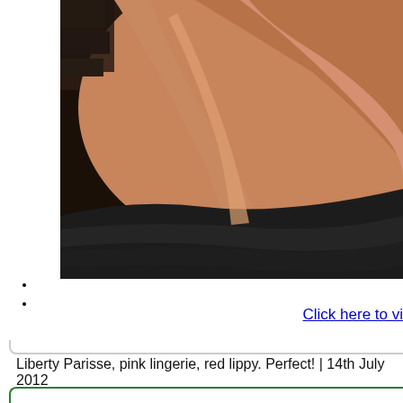[Figure (photo): Close-up photo of a person's arms and upper body, with skin-toned arms crossed, wearing a dark (black) garment, against a dark background.]
Click here to vi
Liberty Parisse, pink lingerie, red lippy. Perfect! | 14th July 2012